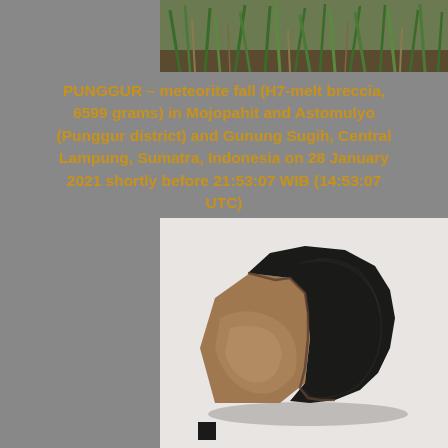[Figure (photo): Top portion of a photo showing green grass and vegetation on brown ground]
PUNGGUR – meteorite fall (H7-melt breccia, 6599 grams) in Mojopahit and Astomulyo (Punggur district) and Gunung Sugih, Central Lampung, Sumatra, Indonesia on 28 January 2021 shortly before 21:53:07 WIB (14:53:07 UTC)
[Figure (photo): Photograph of the Punggur meteorite showing a large dark fusion-crusted stone with a broken face revealing chondritic interior, with a small black scale cube in the lower left on a white background]